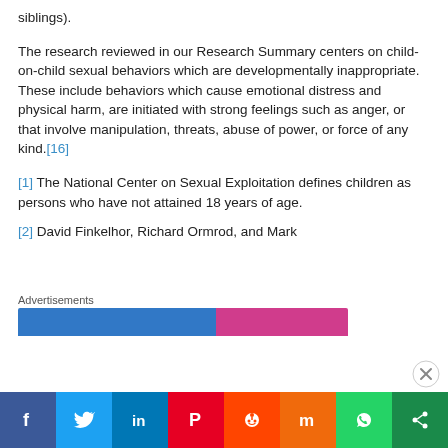siblings).
The research reviewed in our Research Summary centers on child-on-child sexual behaviors which are developmentally inappropriate. These include behaviors which cause emotional distress and physical harm, are initiated with strong feelings such as anger, or that involve manipulation, threats, abuse of power, or force of any kind.[16]
[1] The National Center on Sexual Exploitation defines children as persons who have not attained 18 years of age.
[2] David Finkelhor, Richard Ormrod, and Mark
Advertisements
[Figure (screenshot): Social media share bar with Facebook, Twitter, LinkedIn, Pinterest, Reddit, Mix, WhatsApp, and share buttons]